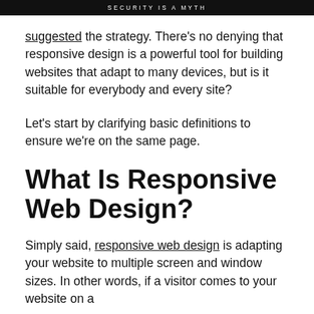SECURITY IS A MYTH
suggested the strategy. There's no denying that responsive design is a powerful tool for building websites that adapt to many devices, but is it suitable for everybody and every site?
Let's start by clarifying basic definitions to ensure we're on the same page.
What Is Responsive Web Design?
Simply said, responsive web design is adapting your website to multiple screen and window sizes. In other words, if a visitor comes to your website on a